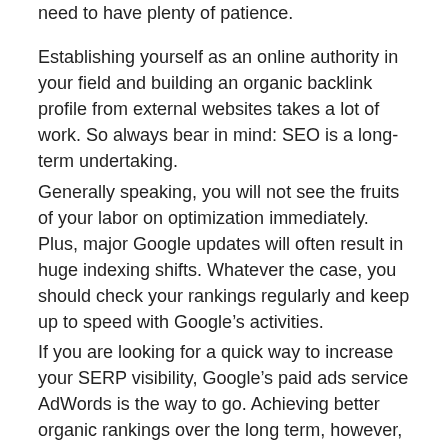need to have plenty of patience.
Establishing yourself as an online authority in your field and building an organic backlink profile from external websites takes a lot of work. So always bear in mind: SEO is a long-term undertaking.
Generally speaking, you will not see the fruits of your labor on optimization immediately. Plus, major Google updates will often result in huge indexing shifts. Whatever the case, you should check your rankings regularly and keep up to speed with Google’s activities.
If you are looking for a quick way to increase your SERP visibility, Google’s paid ads service AdWords is the way to go. Achieving better organic rankings over the long term, however, takes time.
Key takeaways
Once you’ve grasped that SEO is not something you can do on the side, you’re